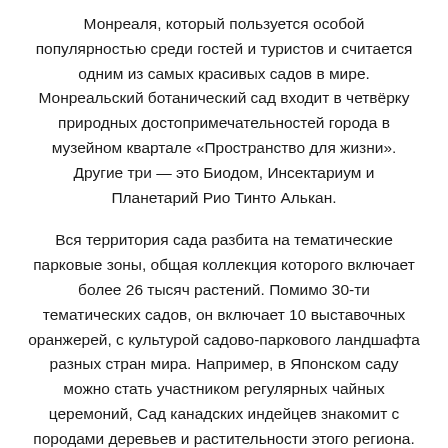Монреаля, который пользуется особой популярностью среди гостей и туристов и считается одним из самых красивых садов в мире. Монреальский ботанический сад входит в четвёрку природных достопримечательностей города в музейном квартале «Пространство для жизни». Другие три — это Биодом, Инсектариум и Планетарий Рио Тинто Алькан.
Вся территория сада разбита на тематические парковые зоны, общая коллекция которого включает более 26 тысяч растений. Помимо 30-ти тематических садов, он включает 10 выставочных оранжерей, с культурой садово-паркового ландшафта разных стран мира. Например, в Японском саду можно стать участником регулярных чайных церемоний, Сад канадских индейцев знакомит с породами деревьев и растительности этого региона. Великолепие Китайского сада встретит вас водопадом и изящной пагодой эпохи династии Мин. Также большой популярностью среди гостей пользуется альпийский сад и розарий, а самые маленькие посетители не